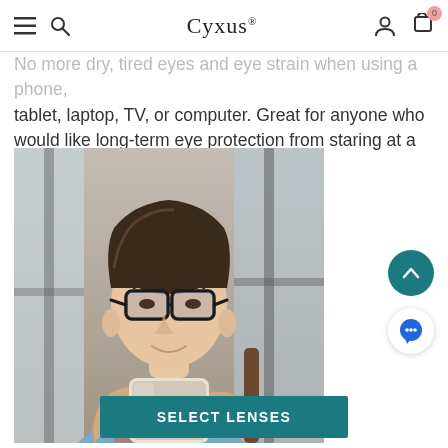Cyxus
No more dry, tired eyes and eye strain when using a phone, tablet, laptop, TV, or computer. Great for anyone who would like long-term eye protection from staring at a screen.
[Figure (photo): Young man wearing black-framed glasses looking at his smartphone in a cafe setting, wearing a light blue t-shirt]
SELECT LENSES